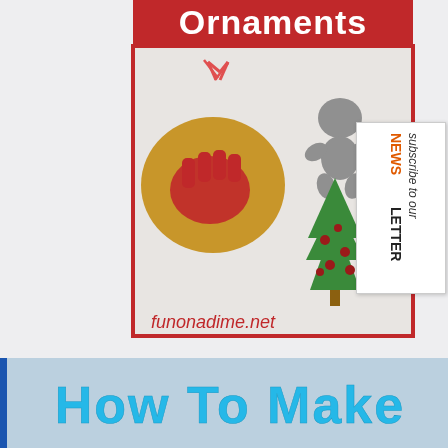[Figure (photo): Christmas ornaments crafts: a round salt dough ornament with red handprint and red ribbon, a grey gingerbread man shape, and a green Christmas tree cookie shape with red dots. Text at bottom reads funonadime.net. Red header bar with white text 'Ornaments' at top.]
[Figure (other): Sidebar box with rotated text 'subscribe to our NEWSLETTER' in italic style, orange and black lettering]
[Figure (photo): Photo banner with cyan/light blue bold text 'How To Make' overlaid on a blurry background, with a blue accent bar on the left edge]